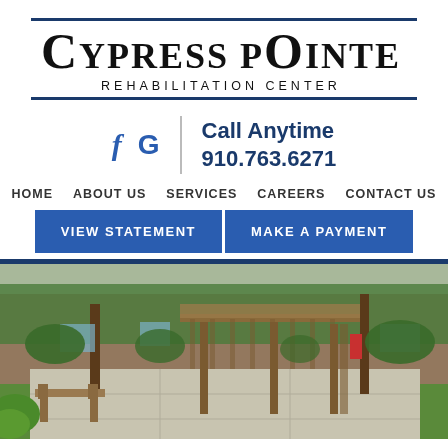[Figure (logo): Cypress Pointe Rehabilitation Center logo with double horizontal rules]
f  G  |  Call Anytime 910.763.6271
HOME   ABOUT US   SERVICES   CAREERS   CONTACT US
VIEW STATEMENT   MAKE A PAYMENT
[Figure (photo): Outdoor patio of Cypress Pointe Rehabilitation Center with wooden pergola structures, concrete patio, bench, brick building, and green lawn]